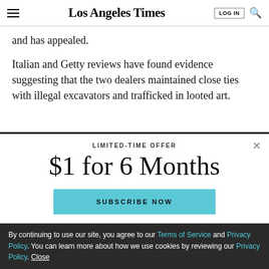Los Angeles Times
and has appealed.
Italian and Getty reviews have found evidence suggesting that the two dealers maintained close ties with illegal excavators and trafficked in looted art.
LIMITED-TIME OFFER
$1 for 6 Months
SUBSCRIBE NOW
By continuing to use our site, you agree to our Terms of Service and Privacy Policy. You can learn more about how we use cookies by reviewing our Privacy Policy. Close